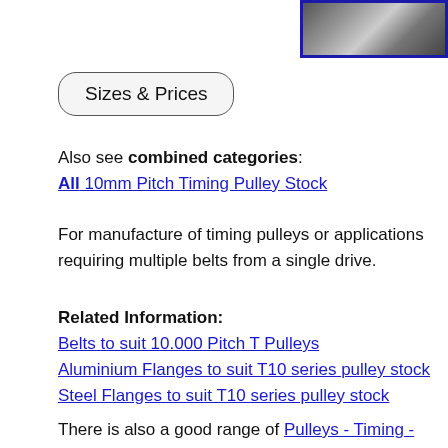[Figure (photo): Photo of timing pulley/belt mechanical components, gears and toothed belt, top right corner with dark blue border]
Sizes & Prices
Also see combined categories:
All 10mm Pitch Timing Pulley Stock
For manufacture of timing pulleys or applications requiring multiple belts from a single drive.
Related Information:
Belts to suit 10.000 Pitch T Pulleys
Aluminium Flanges to suit T10 series pulley stock
Steel Flanges to suit T10 series pulley stock
There is also a good range of Pulleys - Timing - 10.000mm Pitch - T10 - STOCK - Aluminium on the